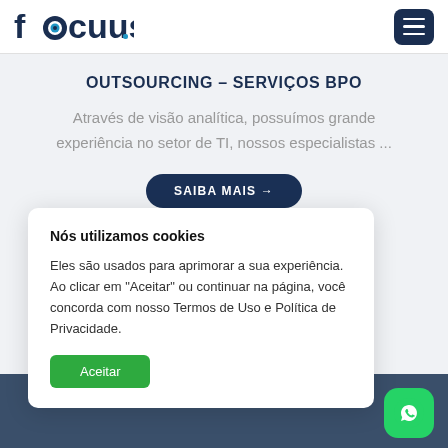focuus
OUTSOURCING – SERVIÇOS BPO
Através de visão analítica, possuímos grande experiência no setor de TI, nossos especialistas ...
SAIBA MAIS →
Nós utilizamos cookies
Eles são usados para aprimorar a sua experiência. Ao clicar em "Aceitar" ou continuar na página, você concorda com nosso Termos de Uso e Política de Privacidade.
Aceitar